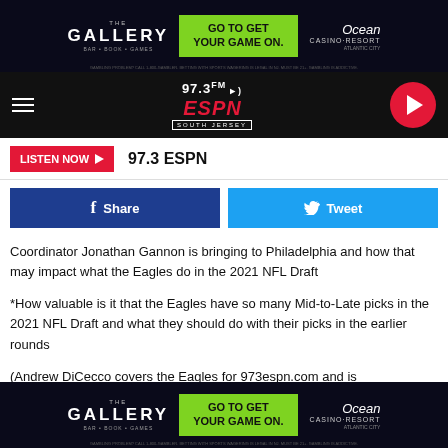[Figure (screenshot): The Gallery bar advertisement banner with Ocean Casino Resort - GO TO GET YOUR GAME ON.]
[Figure (logo): 97.3 FM ESPN South Jersey radio station logo and navigation bar with hamburger menu and play button]
LISTEN NOW ▶  97.3 ESPN
[Figure (screenshot): Facebook Share and Twitter Tweet social sharing buttons]
Coordinator Jonathan Gannon is bringing to Philadelphia and how that may impact what the Eagles do in the 2021 NFL Draft
*How valuable is it that the Eagles have so many Mid-to-Late picks in the 2021 NFL Draft and what they should do with their picks in the earlier rounds
(Andrew DiCecco covers the Eagles for 973espn.com and is
[Figure (screenshot): The Gallery bar advertisement banner with Ocean Casino Resort - GO TO GET YOUR GAME ON. (bottom)]